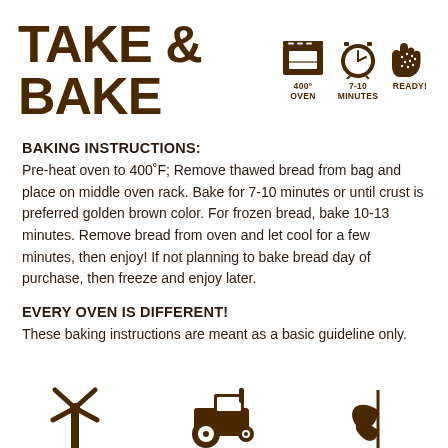TAKE & BAKE
[Figure (infographic): Three icons: oven (400° OVEN), clock (7-10 MINUTES), oven mitt (READY!)]
BAKING INSTRUCTIONS:
Pre-heat oven to 400°F; Remove thawed bread from bag and place on middle oven rack. Bake for 7-10 minutes or until crust is preferred golden brown color. For frozen bread, bake 10-13 minutes. Remove bread from oven and let cool for a few minutes, then enjoy! If not planning to bake bread day of purchase, then freeze and enjoy later.
EVERY OVEN IS DIFFERENT!
These baking instructions are meant as a basic guideline only.
[Figure (illustration): Three icons at the bottom: windmill, tractor, wheat leaf]